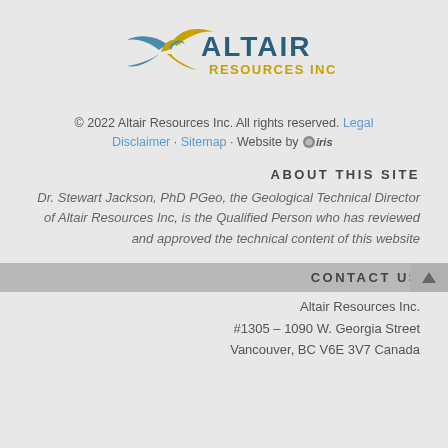[Figure (logo): Altair Resources Inc logo with golden bird/eagle and teal/gold company name text]
© 2022 Altair Resources Inc. All rights reserved. Legal Disclaimer · Sitemap · Website by iris
ABOUT THIS SITE
Dr. Stewart Jackson, PhD PGeo, the Geological Technical Director of Altair Resources Inc, is the Qualified Person who has reviewed and approved the technical content of this website
CONTACT US
Altair Resources Inc.
#1305 – 1090 W. Georgia Street
Vancouver, BC V6E 3V7 Canada